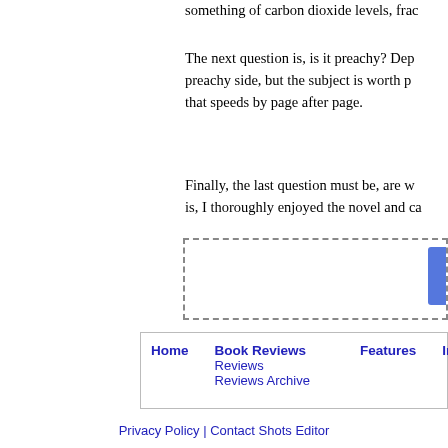something of carbon dioxide levels, frac
The next question is, is it preachy? Dep preachy side, but the subject is worth p that speeds by page after page.
Finally, the last question must be, are w is, I thoroughly enjoyed the novel and ca
[Figure (other): Dashed border advertisement/placeholder box with a blue button element on the right side]
Home   Book Reviews   Features   Interviews
Reviews
Reviews Archive
Privacy Policy | Contact Shots Editor
THIS WEBSITE IS © SHOTS COLLECTIVE. NOT TO BE REPRODUCED ELECTRONICALLY EITHER WHOLLY OR IN PART WITHOUT PRIOR PERMISSION OF THE EDITOR.